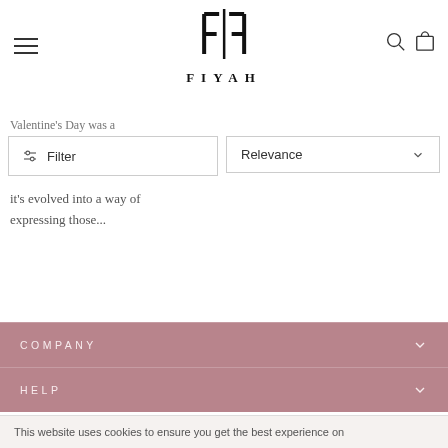[Figure (logo): FIYAH brand logo with stylized FF monogram and text FIYAH below]
Valentine's Day was a
Filter
Relevance
it's evolved into a way of expressing those...
COMPANY
HELP
This website uses cookies to ensure you get the best experience on